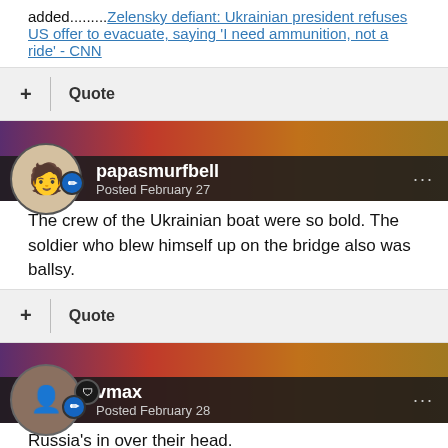added.........Zelensky defiant: Ukrainian president refuses US offer to evacuate, saying 'I need ammunition, not a ride' - CNN
+ Quote
papasmurfbell
Posted February 27
The crew of the Ukrainian boat were so bold.  The soldier who blew himself up on the bridge also was ballsy.
+ Quote
vmax
Posted February 28
Russia's in over their head.